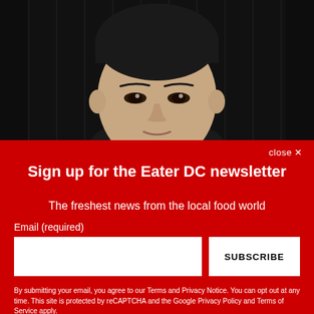[Figure (photo): Headshot of an Asian man with short dark hair against a dark/black background, photographed from shoulders up.]
close ✕
Sign up for the Eater DC newsletter
The freshest news from the local food world
Email (required)
SUBSCRIBE
By submitting your email, you agree to our Terms and Privacy Notice. You can opt out at any time. This site is protected by reCAPTCHA and the Google Privacy Policy and Terms of Service apply.